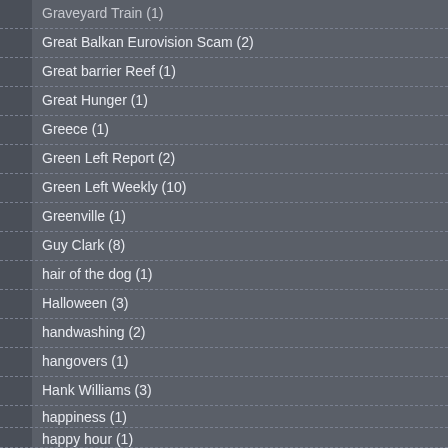Graveyard Train (1)
Great Balkan Eurovision Scam (2)
Great barrier Reef (1)
Great Hunger (1)
Greece (1)
Green Left Report (2)
Green Left Weekly (10)
Greenville (1)
Guy Clark (8)
hair of the dog (1)
Halloween (3)
handwashing (2)
hangovers (1)
Hank Williams (3)
happiness (1)
happy hour (1)